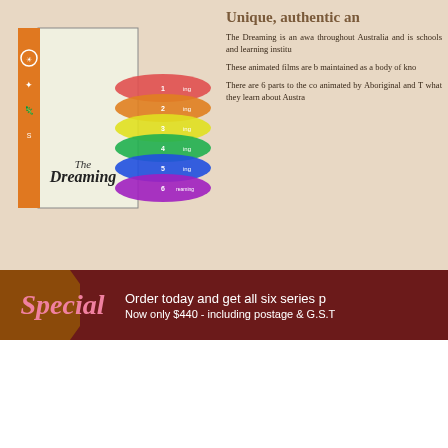[Figure (photo): DVD box set of 'The Dreaming' animated film series with multiple colorful discs]
Unique, authentic an
The Dreaming is an awa throughout Australia and is schools and learning institu
These animated films are b maintained as a body of kno
There are 6 parts to the co animated by Aboriginal and T what they learn about Austra
Special – Order today and get all six series p Now only $440 - including postage & G.S.T
78 Animated Films
There are 6 parts to the complete se Aboriginal and Torres Strait Islander